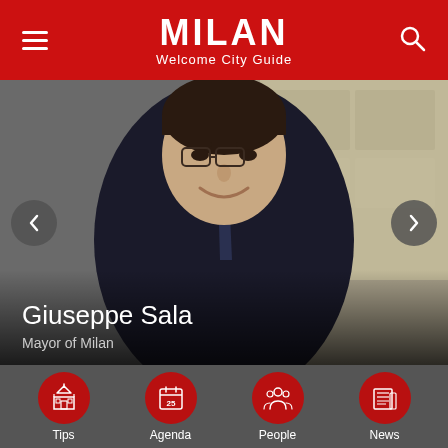MILAN Welcome City Guide
[Figure (photo): Portrait photo of Giuseppe Sala, smiling man in dark suit and tie, in front of a stone architectural background]
Giuseppe Sala
Mayor of Milan
[Figure (infographic): Bottom navigation bar with four red circular icons: Tips (church/cathedral icon), Agenda (calendar with 25), People (group of people icon), News (newspaper icon)]